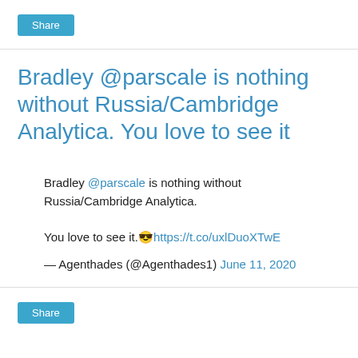Share
Bradley @parscale is nothing without Russia/Cambridge Analytica. You love to see it
Bradley @parscale is nothing without Russia/Cambridge Analytica.

You love to see it.😎https://t.co/uxlDuoXTwE
— Agenthades (@Agenthades1) June 11, 2020
Share